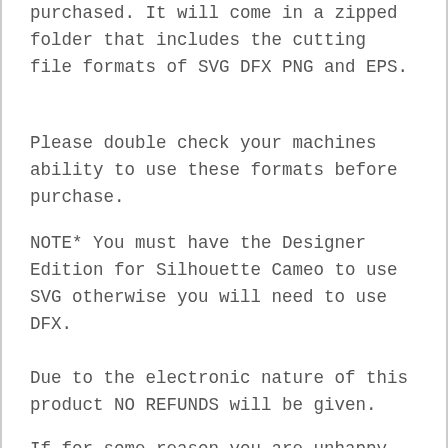purchased. It will come in a zipped folder that includes the cutting file formats of SVG DFX PNG and EPS.
Please double check your machines ability to use these formats before purchase.
NOTE* You must have the Designer Edition for Silhouette Cameo to use SVG otherwise you will need to use DFX.
Due to the electronic nature of this product NO REFUNDS will be given.
If for some reason you are unhappy with the design, please contact me as I want you to